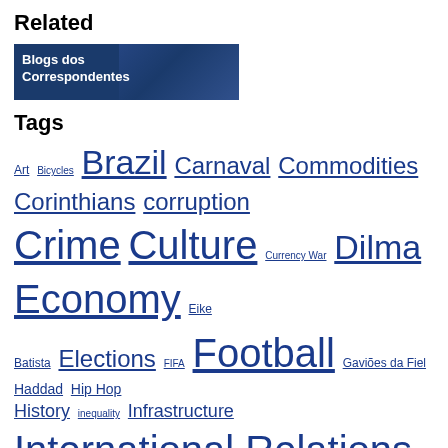Related
[Figure (illustration): Blue banner with world map background and white text reading 'Blogs dos Correspondentes']
Tags
Art Bicycles Brazil Carnaval Commodities Corinthians corruption Crime Culture Currency War Dilma Economy Eike Batista Elections FIFA Football Gaviões da Fiel Haddad Hip Hop History inequality Infrastructure International Relations Journalism Literature Lula Mantega Music Oil Paraty Passe Livre Petrobras Police Politics Protests Religion Rio Soccer Society são paulo Tourism urbanism US Violence World Cup
Publicidade
Publicidade
Publicidade
VOLTAR AO TOPO
Copyright Folha de S.Paulo. Todos os direitos reservados. É